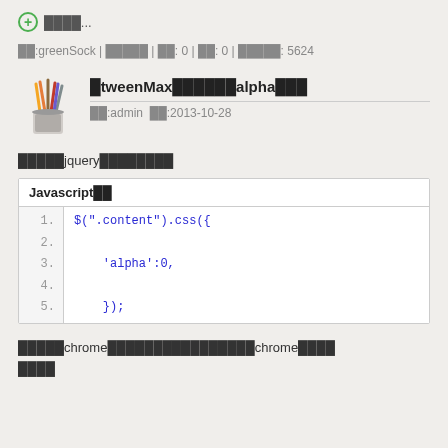+ ████...
██:greenSock | █████ | █: 0 | ██: 0 | █████: 5624
█tweenMax██████alpha███
██:admin  ██:2013-10-28
█████jquery████████
| Javascript██ |
| --- |
| 1. | $(".content").css({ |
| 2. |  |
| 3. |     'alpha':0, |
| 4. |  |
| 5. |     }); |
█████chrome████████████████chrome████
████